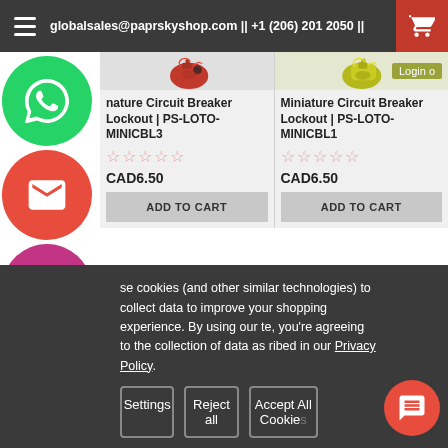globalsales@paprskyshop.com || +1 (206) 201 2050 ||
Miniature Circuit Breaker Lockout | PS-LOTO-MINICBL3
CAD6.50
ADD TO CART
Miniature Circuit Breaker Lockout | PS-LOTO-MINICBL1
CAD6.50
ADD TO CART
se cookies (and other similar technologies) to collect data to improve your shopping experience. By using our te, you're agreeing to the collection of data as ribed in our Privacy Policy.
Settings | Reject all | Accept All Cookies